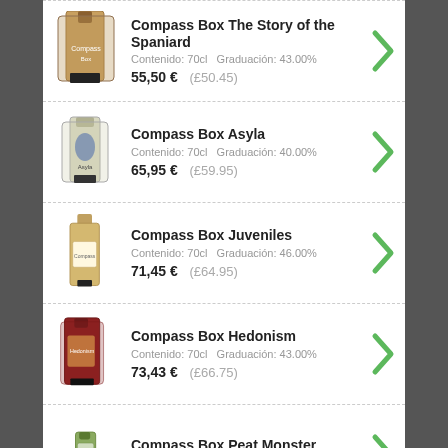Compass Box The Story of the Spaniard | Contenido: 70cl  Graduación: 43.00% | 55,50 €  (£50.45)
Compass Box Asyla | Contenido: 70cl  Graduación: 40.00% | 65,95 €  (£59.95)
Compass Box Juveniles | Contenido: 70cl  Graduación: 46.00% | 71,45 €  (£64.95)
Compass Box Hedonism | Contenido: 70cl  Graduación: 43.00% | 73,43 €  (£66.75)
Compass Box Peat Monster Arcana - 20th Anniversary